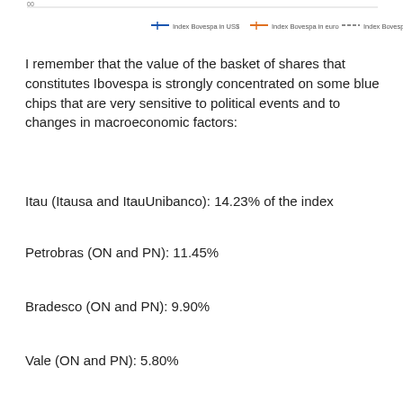[Figure (line-chart): Top portion of a multi-series line chart showing Index Bovespa in USD, Index Bovespa in euro, and Index Bovespa in reais legend entries visible at top]
I remember that the value of the basket of shares that constitutes Ibovespa is strongly concentrated on some blue chips that are very sensitive to political events and to changes in macroeconomic factors:
Itau (Itausa and ItauUnibanco): 14.23% of the index
Petrobras (ON and PN): 11.45%
Bradesco (ON and PN): 9.90%
Vale (ON and PN): 5.80%